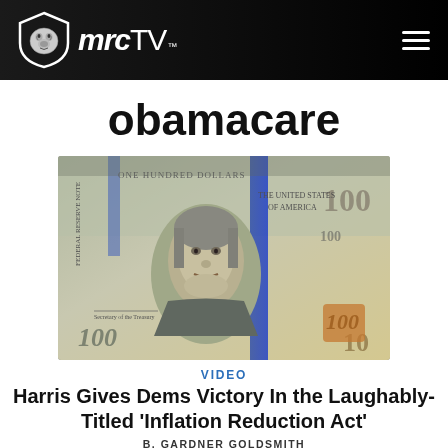mrcTV
obamacare
[Figure (photo): Close-up photograph of US $100 bills showing Benjamin Franklin's portrait and currency details]
VIDEO
Harris Gives Dems Victory In the Laughably-Titled 'Inflation Reduction Act'
B. GARDNER GOLDSMITH